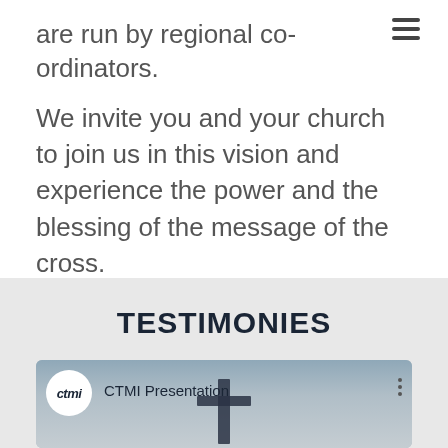are run by regional co-ordinators.
We invite you and your church to join us in this vision and experience the power and the blessing of the message of the cross.
TESTIMONIES
[Figure (screenshot): Video thumbnail showing CTMI logo circle with 'ctmi' text, 'CTMI Presentation' title, three-dot menu icon, and a cross silhouette against a sky background.]